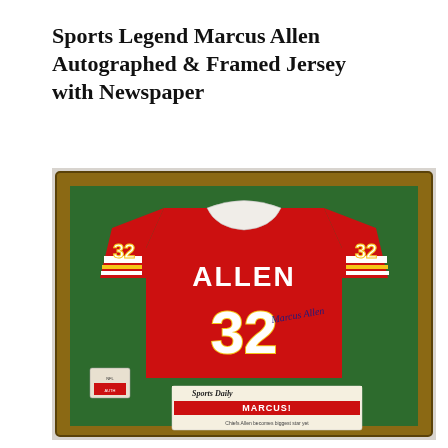Sports Legend Marcus Allen Autographed & Framed Jersey with Newspaper
[Figure (photo): A framed display case with a dark green felt background and wood frame, containing a red Kansas City Chiefs football jersey with the name ALLEN and number 32 in white and gold lettering, autographed. A Sports Daily newspaper clipping with the headline MARCUS! is shown at the bottom of the frame, along with an authentication card.]